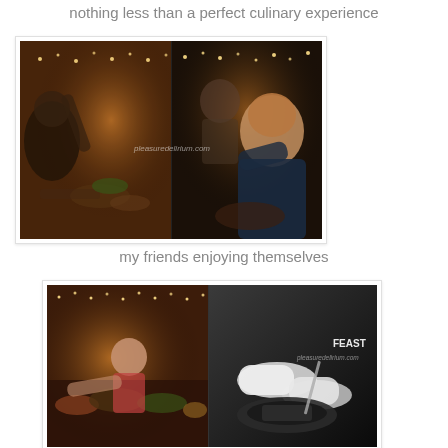nothing less than a perfect culinary experience
[Figure (photo): Two-panel photo showing friends dining at a restaurant with warm lighting, string lights, food on table, and a man in dark shirt gesturing/smiling at the camera. Watermark text visible.]
my friends enjoying themselves
[Figure (photo): Two-panel composite photo: left side shows colorful restaurant dining scene with a woman at the table, right side is black and white showing hands serving/cutting food with 'FEAST' text overlay and watermark.]